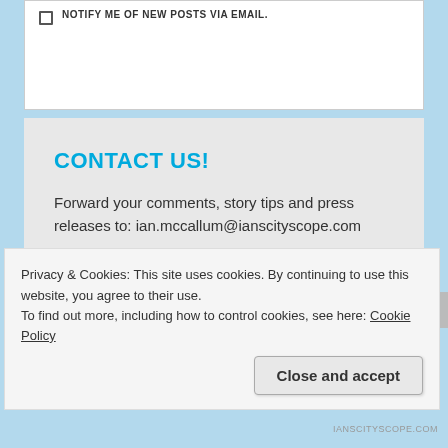NOTIFY ME OF NEW POSTS VIA EMAIL.
CONTACT US!
Forward your comments, story tips and press releases to: ian.mccallum@ianscityscope.com
“PEOPLE PAY MORE ATTENTION TO YOU WHEN THEY THINK YOU’RE UP TO SOMETHING.”
Privacy & Cookies: This site uses cookies. By continuing to use this website, you agree to their use.
To find out more, including how to control cookies, see here: Cookie Policy
Close and accept